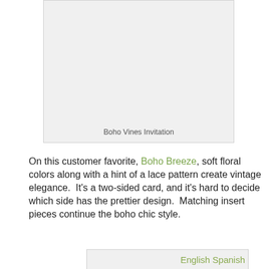[Figure (photo): Light gray placeholder box representing an invitation image]
Boho Vines Invitation
On this customer favorite, Boho Breeze, soft floral colors along with a hint of a lace pattern create vintage elegance.  It's a two-sided card, and it's hard to decide which side has the prettier design.  Matching insert pieces continue the boho chic style.
[Figure (photo): Light gray placeholder box representing a second invitation image]
English Spanish